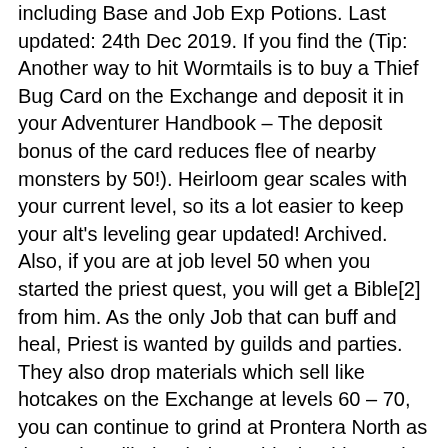including Base and Job Exp Potions. Last updated: 24th Dec 2019. If you find the (Tip: Another way to hit Wormtails is to buy a Thief Bug Card on the Exchange and deposit it in your Adventurer Handbook – The deposit bonus of the card reduces flee of nearby monsters by 50!). Heirloom gear scales with your current level, so its a lot easier to keep your alt's leveling gear updated! Archived. Also, if you are at job level 50 when you started the priest quest, you will get a Bible[2] from him. As the only Job that can buff and heal, Priest is wanted by guilds and parties. They also drop materials which sell like hotcakes on the Exchange at levels 60 – 70, you can continue to grind at Prontera North as the mobs still That being said, should you aim to level as fast as possible to max base level? Here's a guide. Dimensional Gorge - 1 East from Morroc, then talk to the NPC immediately inside. levels 40 – 50, you should be